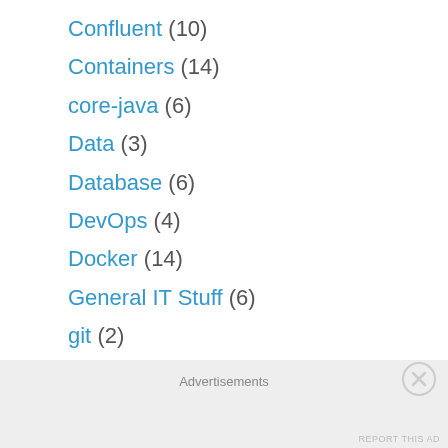Confluent (10)
Containers (14)
core-java (6)
Data (3)
Database (6)
DevOps (4)
Docker (14)
General IT Stuff (6)
git (2)
Google Jib (1)
Infrastructure as Code (1)
Advertisements